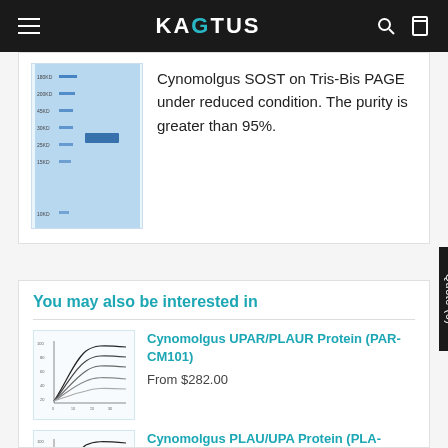KAGTUS
Cynomolgus SOST on Tris-Bis PAGE under reduced condition. The purity is greater than 95%.
You may also be interested in
[Figure (continuous-plot): Line chart showing binding kinetics curves for Cynomolgus UPAR/PLAUR Protein]
Cynomolgus UPAR/PLAUR Protein (PAR-CM101)
From $282.00
[Figure (continuous-plot): Line chart showing binding kinetics curves for Cynomolgus PLAU/UPA Protein]
Cynomolgus PLAU/UPA Protein (PLA-CM101)